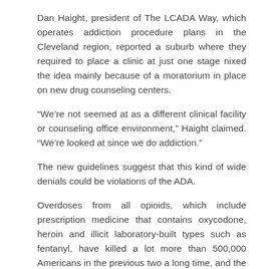Dan Haight, president of The LCADA Way, which operates addiction procedure plans in the Cleveland region, reported a suburb where they required to place a clinic at just one stage nixed the idea mainly because of a moratorium in place on new drug counseling centers.
“We’re not seemed at as a different clinical facility or counseling office environment,” Haight claimed. “We’re looked at since we do addiction.”
The new guidelines suggest that this kind of wide denials could be violations of the ADA.
Overdoses from all opioids, which include prescription medicine that contains oxycodone, heroin and illicit laboratory-built types such as fentanyl, have killed a lot more than 500,000 Americans in the previous two a long time, and the challenge has been growing only even worse. That has annoyed advocates, therapy suppliers